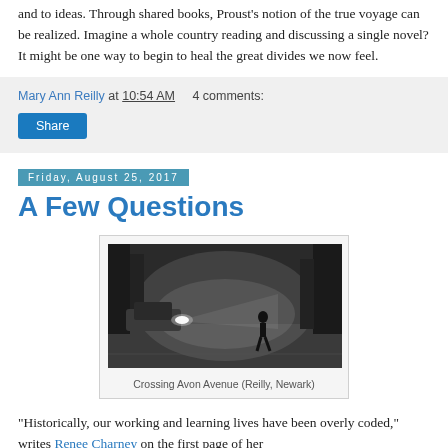and to ideas. Through shared books, Proust's notion of the true voyage can be realized. Imagine a whole country reading and discussing a single novel? It might be one way to begin to heal the great divides we now feel.
Mary Ann Reilly at 10:54 AM   4 comments:
Share
Friday, August 25, 2017
A Few Questions
[Figure (photo): Black and white foggy street scene at night with a car with headlights on the left and a person crossing the street on the right. Foggy, atmospheric. Crossing Avon Avenue (Reilly, Newark)]
Crossing Avon Avenue (Reilly, Newark)
"Historically, our working and learning lives have been overly coded," writes Renee Charney on the first page of her